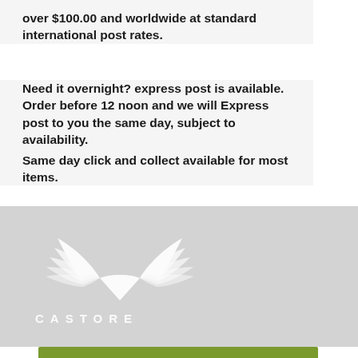over $100.00 and worldwide at standard international post rates.
Need it overnight? express post is available. Order before 12 noon and we will Express post to you the same day, subject to availability.
Same day click and collect available for most items.
[Figure (logo): Castore brand logo — winged chevron above the text CASTORE in white on light grey background]